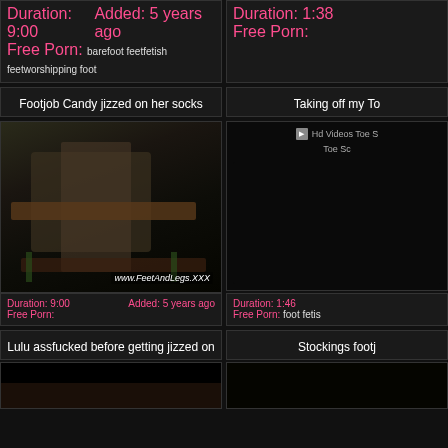Duration: 9:00   Added: 5 years ago
Free Porn: barefoot feetfetish feetworshipping foot
Duration: 1:38
Free Porn:
Footjob Candy jizzed on her socks
Taking off my To
[Figure (photo): Video thumbnail showing two people at outdoor picnic table at night, one in camouflage clothing. Watermark: www.FeetAndLegs.XXX]
[Figure (photo): Placeholder image with text: Hd Videos Toe S Toe Sc]
Duration: 9:00   Added: 5 years ago
Free Porn:
Duration: 1:46
Free Porn: foot fetis
Lulu assfucked before getting jizzed on
Stockings footj
[Figure (photo): Partial video thumbnail, bottom portion visible]
[Figure (photo): Partial right column thumbnail]